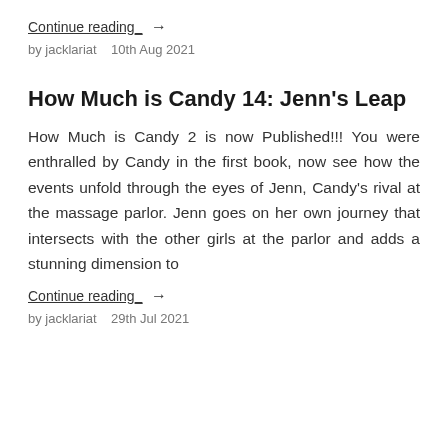Continue reading →
by jacklariat   10th Aug 2021
How Much is Candy 14: Jenn's Leap
How Much is Candy 2 is now Published!!! You were enthralled by Candy in the first book, now see how the events unfold through the eyes of Jenn, Candy's rival at the massage parlor. Jenn goes on her own journey that intersects with the other girls at the parlor and adds a stunning dimension to
Continue reading →
by jacklariat   29th Jul 2021